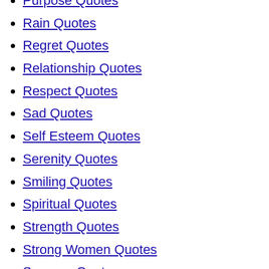Purpose Quotes
Rain Quotes
Regret Quotes
Relationship Quotes
Respect Quotes
Sad Quotes
Self Esteem Quotes
Serenity Quotes
Smiling Quotes
Spiritual Quotes
Strength Quotes
Strong Women Quotes
Success Quotes
Sweet Quotes
Thank You Quotes